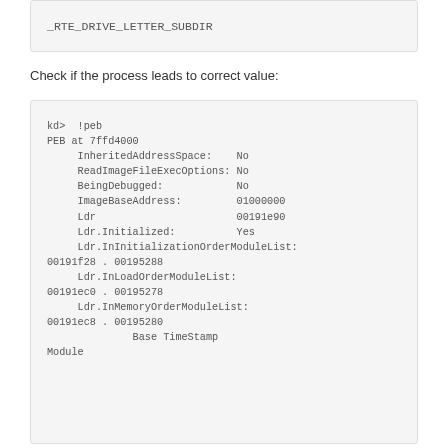_RTE_DRIVE_LETTER_SUBDIR
Check if the process leads to correct value:
kd>  !peb
PEB at 7ffd4000
    InheritedAddressSpace:    No
    ReadImageFileExecOptions: No
    BeingDebugged:            No
    ImageBaseAddress:         01000000
    Ldr                       00191e90
    Ldr.Initialized:          Yes
    Ldr.InInitializationOrderModuleList: 00191f28 . 00195288
    Ldr.InLoadOrderModuleList: 00191ec0 . 00195278
    Ldr.InMemoryOrderModuleList: 00191ec8 . 00195280
              Base TimeStamp
Module